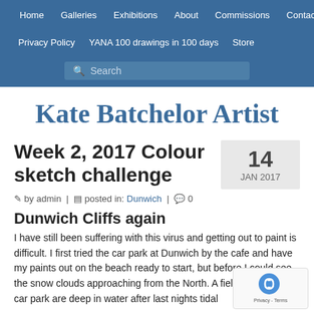Home | Galleries | Exhibitions | About | Commissions | Contact | Privacy Policy | YANA 100 drawings in 100 days | Store | Search
Kate Batchelor Artist
Week 2, 2017 Colour sketch challenge
14 JAN 2017
by admin | posted in: Dunwich | 0
Dunwich Cliffs again
I have still been suffering with this virus and getting out to paint is difficult. I first tried the car park at Dunwich by the cafe and have my paints out on the beach ready to start, but before I could see the snow clouds approaching from the North. A fields around the car park are deep in water after last nights tidal